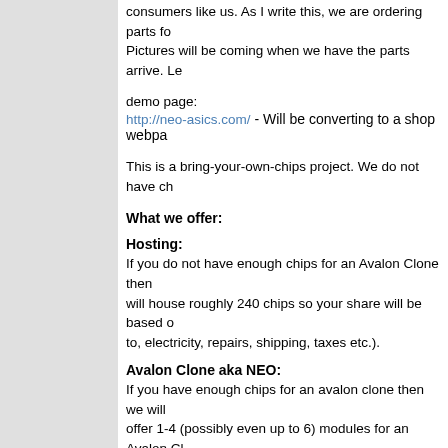consumers like us. As I write this, we are ordering parts fo Pictures will be coming when we have the parts arrive. Le
demo page:
http://neo-asics.com/ - Will be converting to a shop webpa
This is a bring-your-own-chips project. We do not have ch
What we offer:
Hosting:
If you do not have enough chips for an Avalon Clone then will house roughly 240 chips so your share will be based o to, electricity, repairs, shipping, taxes etc.).
Avalon Clone aka NEO:
If you have enough chips for an avalon clone then we will offer 1-4 (possibly even up to 6) modules for an Avalon Cl
NEO - Avalon ASIC Unit – Clone (YOU PROVIDE Avalon
From: $800
hashrate: from 22 Gh/s to 85 Gh/s speed guarante
power consumption: ~ 180/360/540/720w @ 230V
contains a maximum of four hashing modules of 22
self contained unit with Ethernet and WiFi capabilit
open sourced openWRT operating system with we